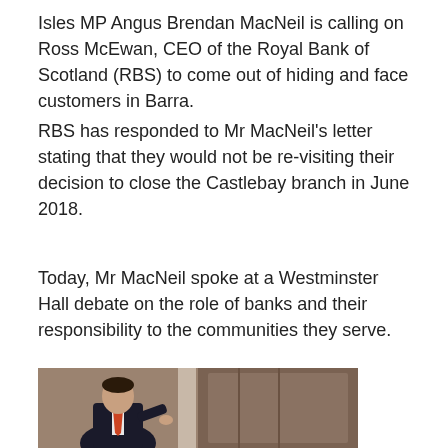Isles MP Angus Brendan MacNeil is calling on Ross McEwan, CEO of the Royal Bank of Scotland (RBS) to come out of hiding and face customers in Barra.
RBS has responded to Mr MacNeil's letter stating that they would not be re-visiting their decision to close the Castlebay branch in June 2018.
Today, Mr MacNeil spoke at a Westminster Hall debate on the role of banks and their responsibility to the communities they serve.
[Figure (photo): Photo of a man in a dark suit with a tie, speaking or gesturing, in what appears to be a formal wood-panelled room (Westminster Hall).]